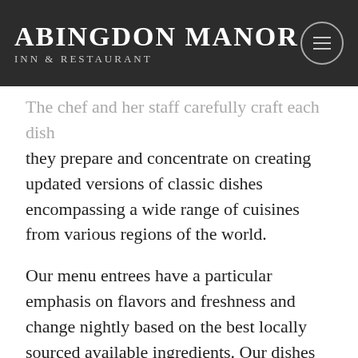Abingdon Manor Inn & Restaurant
The chef and her staff carefully craft each dish they prepare and concentrate on creating updated versions of classic dishes encompassing a wide range of cuisines from various regions of the world.
Our menu entrees have a particular emphasis on flavors and freshness and change nightly based on the best locally sourced available ingredients. Our dishes are seasoned with herbs from the Inn's gardens. The fine dining experience includes a small starter, demitasse of soup, salad and warm